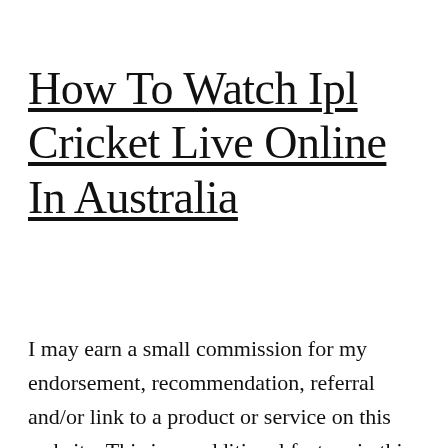How To Watch Ipl Cricket Live Online In Australia
I may earn a small commission for my endorsement, recommendation, referral and/or link to a product or service on this website. This is an additional feature in this version of TV Oreo 40 apk. betting on ipl You can watch IPL 2022 and many movies in different genres and languages